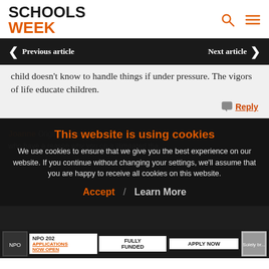SCHOOLS WEEK
child doesn't know to handle things if under pressure. The vigors of life educate children.
Reply
This website is using cookies
We use cookies to ensure that we give you the best experience on our website. If you continue without changing your settings, we'll assume that you are happy to receive all cookies on this website.
Accept | Learn More